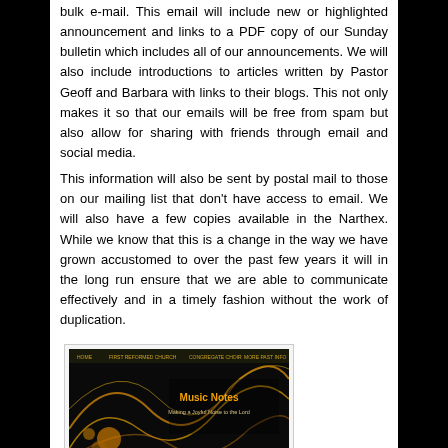bulk e-mail. This email will include new or highlighted announcement and links to a PDF copy of our Sunday bulletin which includes all of our announcements. We will also include introductions to articles written by Pastor Geoff and Barbara with links to their blogs. This not only makes it so that our emails will be free from spam but also allow for sharing with friends through email and social media.
This information will also be sent by postal mail to those on our mailing list that don’t have access to email. We will also have a few copies available in the Narthex. While we know that this is a change in the way we have grown accustomed to over the past few years it will in the long run ensure that we are able to communicate effectively and in a timely fashion without the work of duplication.
[Figure (screenshot): Screenshot of a website with dark background showing 'Music Notes - Making a Joyful Noise to the Lord' blog header with golden musical note graphics]
It will also increase our web presence. Barbara's blog has